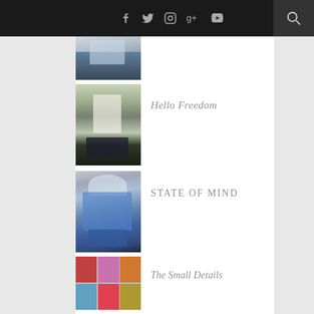Navigation bar with social icons: Facebook, Twitter, Instagram, Google+, YouTube, and search
[Figure (photo): Partial thumbnail of a fashion photo (cropped, showing clothing)]
[Figure (photo): Photo of a young woman in white blouse and dark skirt standing on a balcony with greenery]
Hello Freedom
[Figure (photo): Photo of a young woman in a blue jacket with dark curly hair]
STATE OF MIND
[Figure (photo): Collage grid of multiple small fashion photos with red and pink tones]
The Small Details